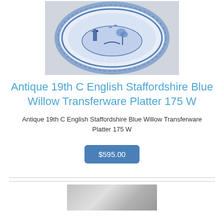[Figure (photo): Blue and white antique Staffordshire Blue Willow transferware platter, oval shape with decorative Asian-inspired scene, photographed from above on a light gray background.]
Antique 19th C English Staffordshire Blue Willow Transferware Platter 175 W
Antique 19th C English Staffordshire Blue Willow Transferware Platter 175 W
$595.00
[Figure (photo): Partial image of a second product, showing a metallic or silver-gray surface, cut off at the bottom of the page.]